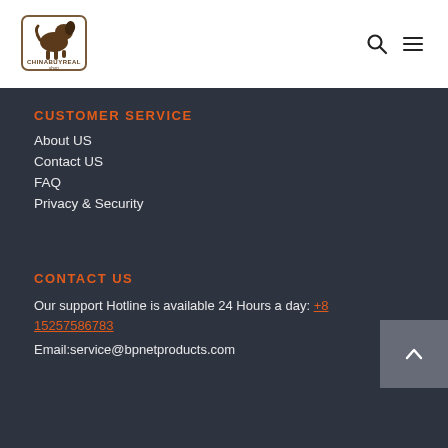[Figure (logo): ChinaBuyReal dog logo with border and text]
CUSTOMER SERVICE
About US
Contact US
FAQ
Privacy & Security
CONTACT US
Our support Hotline is available 24 Hours a day: +8615257586783
Email:service@bpnetproducts.com